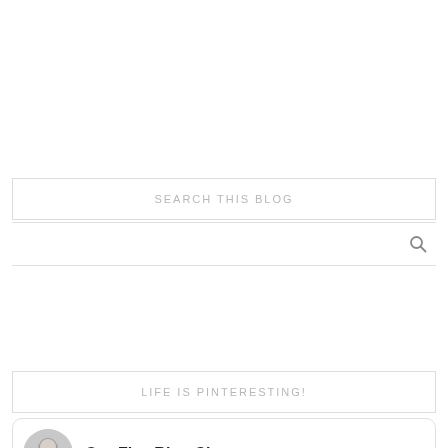SEARCH THIS BLOG
[Figure (other): Search icon (magnifying glass)]
LIFE IS PINTERESTING!
[Figure (screenshot): Pinterest widget showing Our Five Ring Circus profile with avatar photo and thumbnail images below]